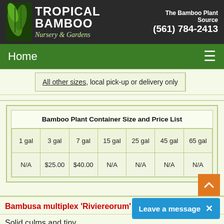[Figure (logo): Tropical Bamboo Nursery & Gardens logo with bamboo leaf graphic, white text on dark background, phone number (561) 784-2413]
Home
All other sizes, local pick-up or delivery only
| 1 gal | 3 gal | 7 gal | 15 gal | 25 gal | 45 gal | 65 gal |
| --- | --- | --- | --- | --- | --- | --- |
| N/A | $25.00 | $40.00 | N/A | N/A | N/A | N/A |
Bambusa multiplex 'Riviereorum' - Chinese Godd
Solid culms and tiny